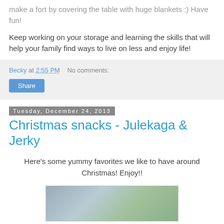make a fort by covering the table with huge blankets :) Have fun!
Keep working on your storage and learning the skills that will help your family find ways to live on less and enjoy life!
Becky at 2:55 PM   No comments:
Share
Tuesday, December 24, 2013
Christmas snacks - Julekaga & Jerky
Here's some yummy favorites we like to have around Christmas! Enjoy!!
[Figure (photo): Photo of Christmas snacks items]